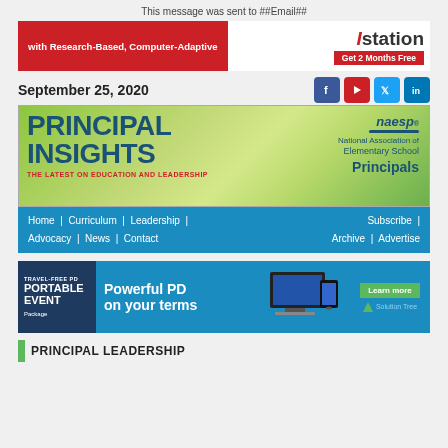This message was sent to ##Email##
[Figure (infographic): Istation advertisement banner with red background text 'with Research-Based, Computer-Adaptive' on left and Istation logo with 'Get 2 Months Free' button on right]
September 25, 2020
[Figure (infographic): Social media icons: Facebook, YouTube, Twitter, LinkedIn]
[Figure (infographic): Principal Insights newsletter banner with green gradient background, NAESP National Association of Elementary School Principals logo]
[Figure (infographic): Navigation bar with links: Home, Curriculum, Leadership, Advocacy, News, Contact, Subscribe, Archive, Advertise]
[Figure (infographic): Portable Event Package advertisement: Travel-Free PD, Powerful PD on your terms, Learn more, Solution Tree]
PRINCIPAL LEADERSHIP